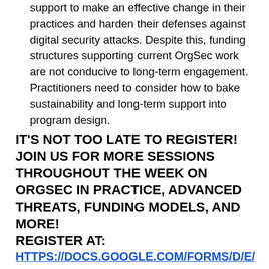support to make an effective change in their practices and harden their defenses against digital security attacks. Despite this, funding structures supporting current OrgSec work are not conducive to long-term engagement. Practitioners need to consider how to bake sustainability and long-term support into program design.
IT'S NOT TOO LATE TO REGISTER! JOIN US FOR MORE SESSIONS THROUGHOUT THE WEEK ON ORGSEC IN PRACTICE, ADVANCED THREATS, FUNDING MODELS, AND MORE!
REGISTER AT:
HTTPS://DOCS.GOOGLE.COM/FORMS/D/E/